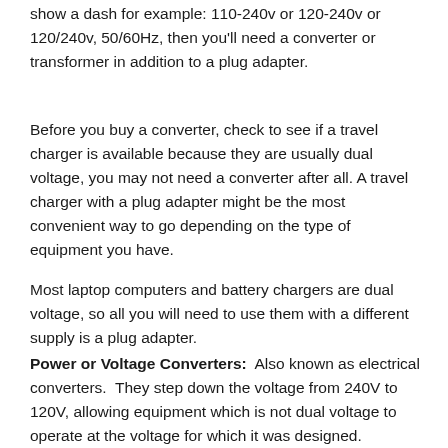show a dash for example: 110-240v or 120-240v or 120/240v, 50/60Hz, then you'll need a converter or transformer in addition to a plug adapter.
Before you buy a converter, check to see if a travel charger is available because they are usually dual voltage, you may not need a converter after all. A travel charger with a plug adapter might be the most convenient way to go depending on the type of equipment you have.
Most laptop computers and battery chargers are dual voltage, so all you will need to use them with a different supply is a plug adapter.
Power or Voltage Converters: Also known as electrical converters. They step down the voltage from 240V to 120V, allowing equipment which is not dual voltage to operate at the voltage for which it was designed. Converters do not alter the frequency at which electricity is delivered. 1 to 2 hours at